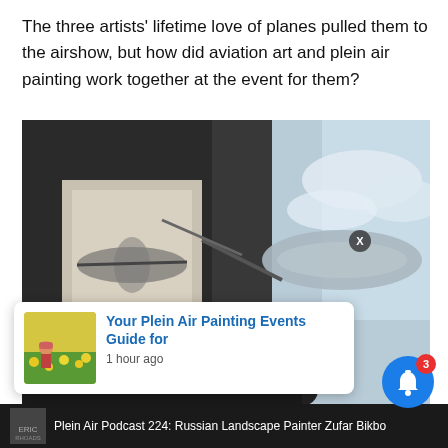The three artists' lifetime love of planes pulled them to the airshow, but how did aviation art and plein air painting work together at the event for them?
[Figure (photo): Photo of an artist painting a canvas depicting a vintage propeller airplane at an airshow. The painting is on an easel outdoors. A real aircraft with a red nose cone and propeller is visible to the right. The scene is taken from an overhead angle with a partly cloudy sky in the background.]
[Figure (screenshot): Notification popup overlay showing a thumbnail of a person painting in a flower field, with blue link text reading 'Your Plein Air Painting Events Guide for' and timestamp '1 hour ago'. Also shows a blue notification bell icon with red badge showing '3', and an X close button.]
Plein Air Podcast 224: Russian Landscape Painter Zufar Bikbo